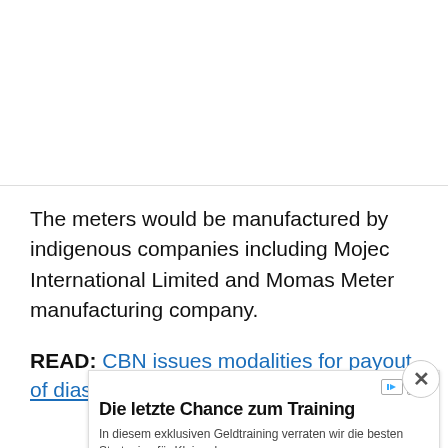[Figure (other): Blank white top section of article page]
The meters would be manufactured by indigenous companies including Mojec International Limited and Momas Meter manufacturing company.
READ: CBN issues modalities for payout of diaspora remittances in dollars
[Figure (other): Advertisement overlay: Die letzte Chance zum Training - In diesem exklusiven Geldtraining verraten wir die besten Strategien für Kleinanleger - Thorsten Wittmann - Öffnen button]